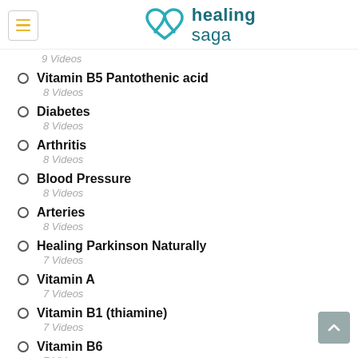healing saga
9 Videos
Vitamin B5 Pantothenic acid
8 Videos
Diabetes
8 Videos
Arthritis
8 Videos
Blood Pressure
8 Videos
Arteries
8 Videos
Healing Parkinson Naturally
7 Videos
Vitamin A
7 Videos
Vitamin B1 (thiamine)
7 Videos
Vitamin B6
7 Videos